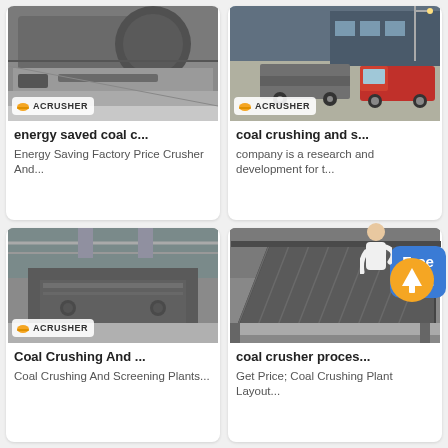[Figure (photo): Industrial coal crusher/conveyor machine, gray metallic, ACRUSHER brand logo overlay]
energy saved coal c...
Energy Saving Factory Price Crusher And...
[Figure (photo): Trucks and heavy equipment vehicles parked outside industrial facility, ACRUSHER brand logo overlay]
coal crushing and s...
company is a research and development for t...
[Figure (photo): Coal crusher screening plant machine in factory, gray metallic, ACRUSHER brand logo overlay]
Coal Crushing And ...
Coal Crushing And Screening Plants...
[Figure (photo): Coal crusher vibrating screen machine, inclined metallic structure in factory setting]
coal crusher proces...
Get Price; Coal Crushing Plant Layout...